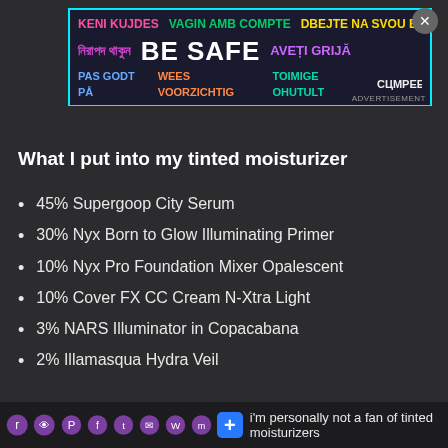[Figure (other): Safety advertisement banner with multilingual 'BE SAFE' text in colorful fonts on dark background with cyan border. Languages include Catalan, Czech, Bengali, English, Romanian, Danish, Dutch, Estonian, and others.]
What I put into my tinted moisturizer
45% Supergoop City Serum
30% Nyx Born to Glow Illuminating Primer
10% Nyx Pro Foundation Mixer Opalescent
10% Cover FX CC Cream N-Xtra Light
3% NARS Illuminator in Copacabana
2% Illamasqua Hydra Veil
i'm personally not a fan of tinted moisturizers